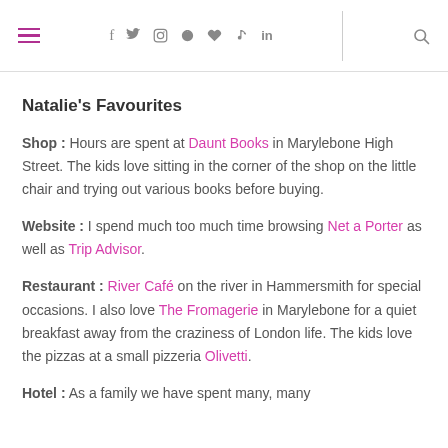Navigation header with hamburger menu, social icons (f, twitter, instagram, pinterest, heart, youtube, linkedin) and search icon
Natalie's Favourites
Shop : Hours are spent at Daunt Books in Marylebone High Street. The kids love sitting in the corner of the shop on the little chair and trying out various books before buying.
Website : I spend much too much time browsing Net a Porter as well as Trip Advisor.
Restaurant : River Café on the river in Hammersmith for special occasions. I also love The Fromagerie in Marylebone for a quiet breakfast away from the craziness of London life. The kids love the pizzas at a small pizzeria Olivetti.
Hotel : As a family we have spent many, many hours there and...